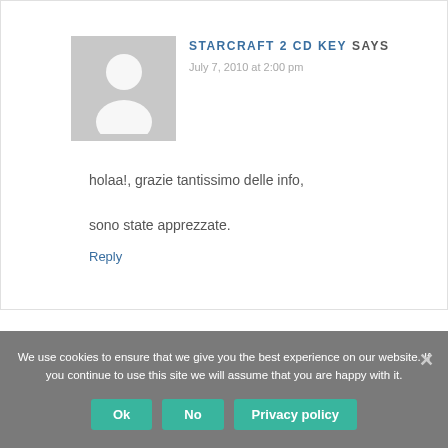STARCRAFT 2 CD KEY SAYS
July 7, 2010 at 2:00 pm
holaa!, grazie tantissimo delle info, sono state apprezzate.
Reply
We use cookies to ensure that we give you the best experience on our website. If you continue to use this site we will assume that you are happy with it.